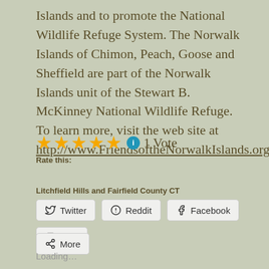Islands and to promote the National Wildlife Refuge System. The Norwalk Islands of Chimon, Peach, Goose and Sheffield are part of the Norwalk Islands unit of the Stewart B. McKinney National Wildlife Refuge. To learn more, visit the web site at http://www.FriendsoftheNorwalkIslands.org
★★★★★ ℹ 1 Vote
Rate this:
Litchfield Hills and Fairfield County CT
Twitter  Reddit  Facebook  Print  More
Loading...